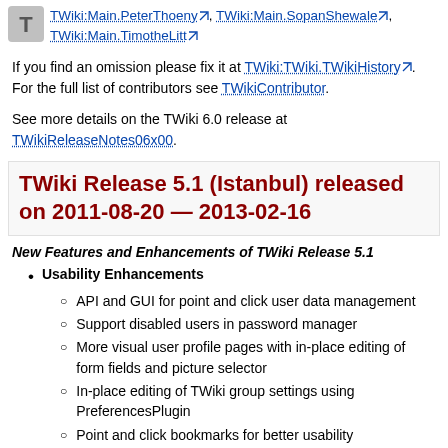TWiki:Main.PeterThoeny, TWiki:Main.SopanShewale, TWiki:Main.TimotheLitt
If you find an omission please fix it at TWiki:TWiki.TWikiHistory. For the full list of contributors see TWikiContributor.
See more details on the TWiki 6.0 release at TWikiReleaseNotes06x00.
TWiki Release 5.1 (Istanbul) released on 2011-08-20 — 2013-02-16
New Features and Enhancements of TWiki Release 5.1
Usability Enhancements
API and GUI for point and click user data management
Support disabled users in password manager
More visual user profile pages with in-place editing of form fields and picture selector
In-place editing of TWiki group settings using PreferencesPlugin
Point and click bookmarks for better usability